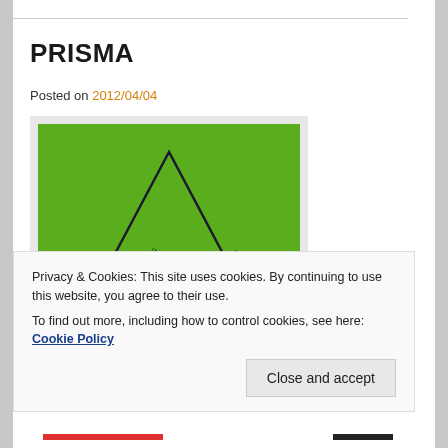PRISMA
Posted on 2012/04/04
[Figure (photo): Book/album cover for PRISMA for orchestra by Jonas Muthing — green background with a triangle outline and text PRISMA FOR ORCHESTRA JONAS MUTHING]
Privacy & Cookies: This site uses cookies. By continuing to use this website, you agree to their use.
To find out more, including how to control cookies, see here: Cookie Policy